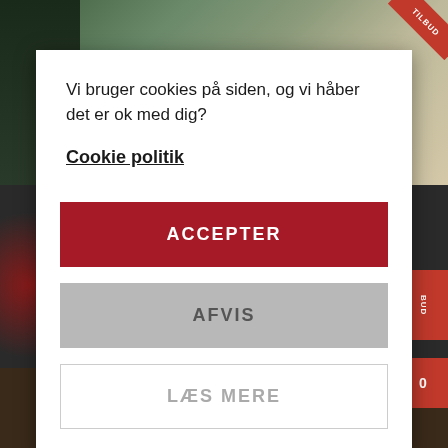[Figure (screenshot): Background image showing a website with cow and person photo in top section, dark spice/food background in middle section, red promotional ribbons, and a free shipping bar at the bottom.]
Vi bruger cookies på siden, og vi håber det er ok med dig?
Cookie politik
ACCEPTER
AFVIS
LÆS MERE
995,- til gratis fragt